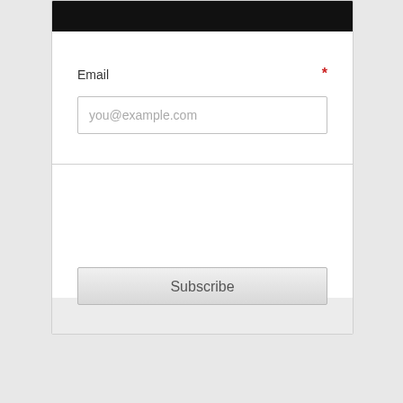[Figure (screenshot): A subscription form UI with a black header bar, Email field with placeholder 'you@example.com' and a red asterisk required indicator, a Name field, and a Subscribe button. The form has a white background with light gray borders and a gray footer bar containing the Subscribe button.]